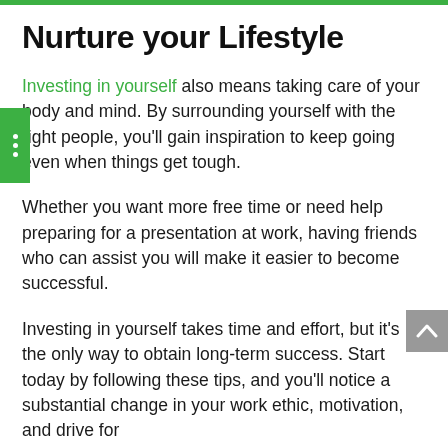Nurture your Lifestyle
Investing in yourself also means taking care of your body and mind. By surrounding yourself with the right people, you'll gain inspiration to keep going even when things get tough.
Whether you want more free time or need help preparing for a presentation at work, having friends who can assist you will make it easier to become successful.
Investing in yourself takes time and effort, but it's the only way to obtain long-term success. Start today by following these tips, and you'll notice a substantial change in your work ethic, motivation, and drive for